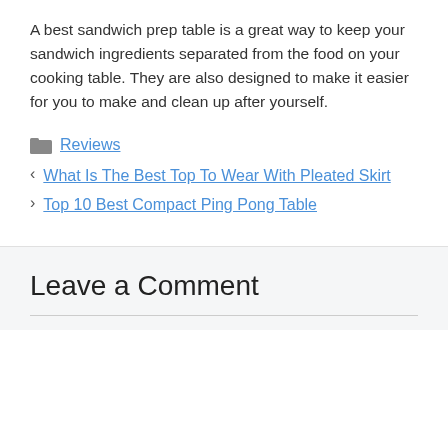A best sandwich prep table is a great way to keep your sandwich ingredients separated from the food on your cooking table. They are also designed to make it easier for you to make and clean up after yourself.
Reviews
< What Is The Best Top To Wear With Pleated Skirt
> Top 10 Best Compact Ping Pong Table
Leave a Comment